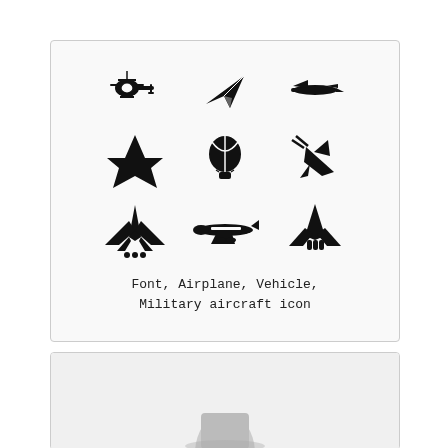[Figure (illustration): A 3x3 grid of black aviation/aircraft icons: helicopter, paper plane, small aircraft, airplane (crossing arrows style), hot air balloon, fighter jet diving with smoke, fighter jet (front view), commercial airplane side view, space shuttle/rocket with exhaust]
Font, Airplane, Vehicle, Military aircraft icon
[Figure (photo): Partial view of what appears to be a white aircraft or vehicle on a light background, cropped at bottom of page]